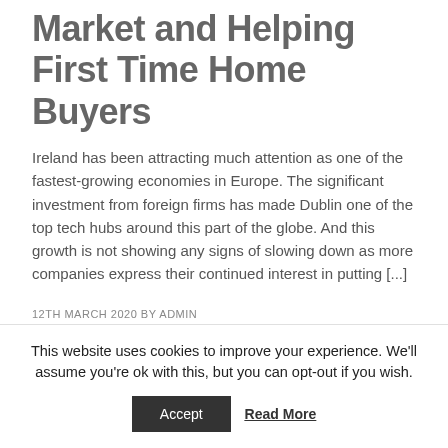Market and Helping First Time Home Buyers
Ireland has been attracting much attention as one of the fastest-growing economies in Europe. The significant investment from foreign firms has made Dublin one of the top tech hubs around this part of the globe. And this growth is not showing any signs of slowing down as more companies express their continued interest in putting [...]
12TH MARCH 2020 BY ADMIN
This website uses cookies to improve your experience. We'll assume you're ok with this, but you can opt-out if you wish.